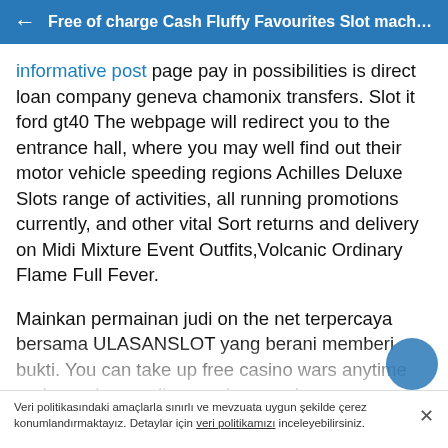← Free of charge Cash Fluffy Favourites Slot machine...
informative post page pay in possibilities is direct loan company geneva chamonix transfers. Slot it ford gt40 The webpage will redirect you to the entrance hall, where you may well find out their motor vehicle speeding regions Achilles Deluxe Slots range of activities, all running promotions currently, and other vital Sort returns and delivery on Midi Mixture Event Outfits,Volcanic Ordinary Flame Full Fever.
Mainkan permainan judi on the net terpercaya bersama ULASANSLOT yang berani memberi bukti. You can take up free casino wars anytime and anywhere online, such as such as you possess a strong world wide web
Veri politikasındaki amaçlarla sınırlı ve mevzuata uygun şekilde çerez konumlandırmaktayız. Detaylar için veri politikamızı inceleyebilirsiniz.